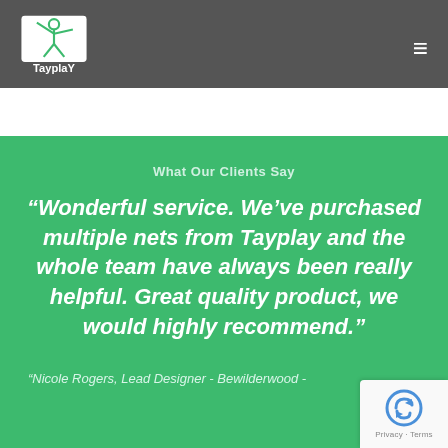TayplaY
What Our Clients Say
“Wonderful service. We’ve purchased multiple nets from Tayplay and the whole team have always been really helpful. Great quality product, we would highly recommend.”
"Nicole Rogers, Lead Designer - Bewilderwood -